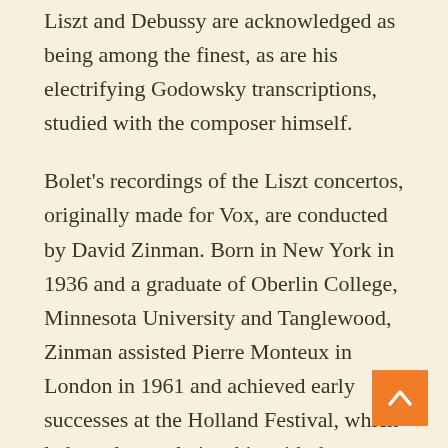Liszt and Debussy are acknowledged as being among the finest, as are his electrifying Godowsky transcriptions, studied with the composer himself.
Bolet's recordings of the Liszt concertos, originally made for Vox, are conducted by David Zinman. Born in New York in 1936 and a graduate of Oberlin College, Minnesota University and Tanglewood, Zinman assisted Pierre Monteux in London in 1961 and achieved early successes at the Holland Festival, which led to a long relationship with the Rotterdam Philharmonic and a series of acclaimed recording for Philips. From 1974 to 1985 he was Music Director of the Rochester Philharmonic, later taking a similar position with the Baltimore Symphony Orchestra. In addition to performing with many American organizations and orchestras worldwide, Zinman is currently Musical Director of the Tonhalle Orchestra, Zürich.